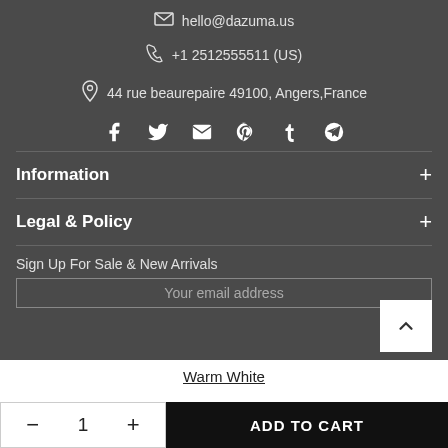hello@dazuma.us
+1 2512555511 (US)
44 rue beaurepaire 49100, Angers,France
[Figure (other): Social media icons row: Facebook, Twitter, Email, Pinterest, Tumblr, Telegram]
Information
Legal & Policy
Sign Up For Sale & New Arrivals
Your email address
Warm White
1
ADD TO CART